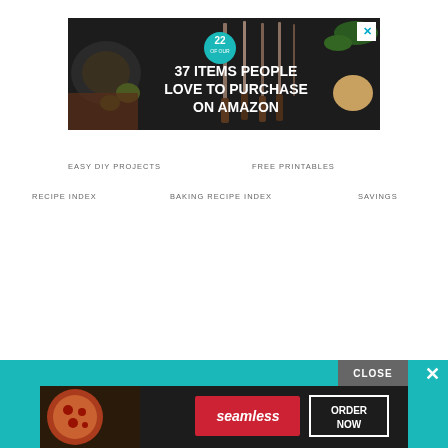[Figure (screenshot): Advertisement banner: dark background with kitchen knives and food items, teal circular badge showing '22', white bold text '37 ITEMS PEOPLE LOVE TO PURCHASE ON AMAZON', close X button in top right corner]
EASY DIY PROJECTS
FREE PRINTABLES
RECIPE INDEX
BAKING RECIPE INDEX
SAVINGS
[Figure (screenshot): Bottom overlay: teal bar with 'CLOSE' button and X, Seamless advertisement showing pizza, Seamless red logo, 'ORDER NOW' button with white border]